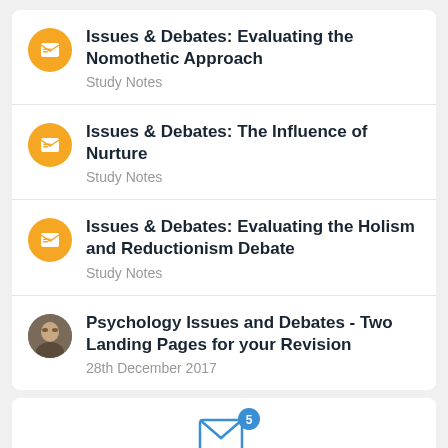Issues & Debates: Evaluating the Nomothetic Approach
Study Notes
Issues & Debates: The Influence of Nurture
Study Notes
Issues & Debates: Evaluating the Holism and Reductionism Debate
Study Notes
Psychology Issues and Debates - Two Landing Pages for your Revision
28th December 2017
[Figure (infographic): Mail envelope icon with blue notification badge showing number 5]